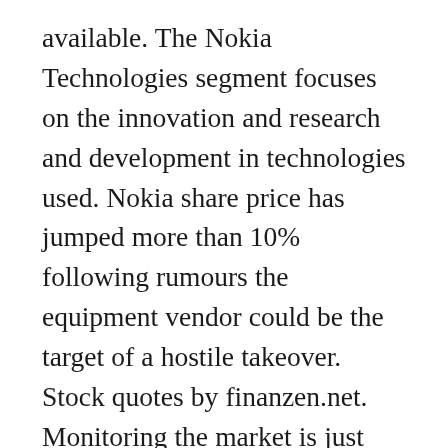available. The Nokia Technologies segment focuses on the innovation and research and development in technologies used. Nokia share price has jumped more than 10% following rumours the equipment vendor could be the target of a hostile takeover. Stock quotes by finanzen.net. Monitoring the market is just one aspect of the research you should do before investing in a company like Nokia. Nokia controlled 15.9% of the global telecommunications equipment market last year, according to Dell'Oro Group, placing it between Huawei's 27.8% share and Ericsson's 13.6% share. NOKIA (NOK1V:HEX) forecasts: consensus recommendations, research